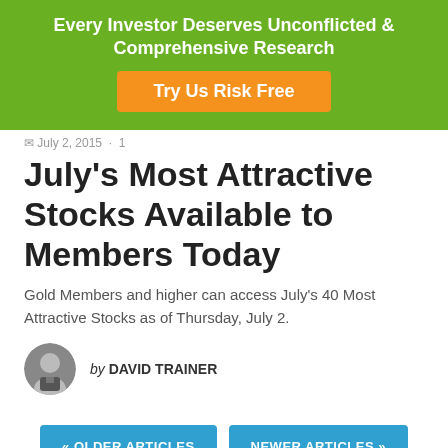Every Investor Deserves Unconflicted & Comprehensive Research
Try Us Risk Free
July 2, 2015 · 1
July's Most Attractive Stocks Available to Members Today
Gold Members and higher can access July's 40 Most Attractive Stocks as of Thursday, July 2.
by DAVID TRAINER
« OLDER ARTICLES
NEWER ARTICLES »
SEARCH